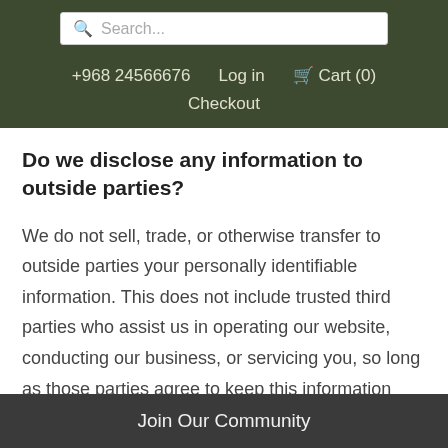Search... | +968 24566676 | Log in | Cart (0) | Checkout
Do we disclose any information to outside parties?
We do not sell, trade, or otherwise transfer to outside parties your personally identifiable information. This does not include trusted third parties who assist us in operating our website, conducting our business, or servicing you, so long as those parties agree to keep this information confidential. We may also release your information when we believe release is appropriate to comply with
Join Our Community